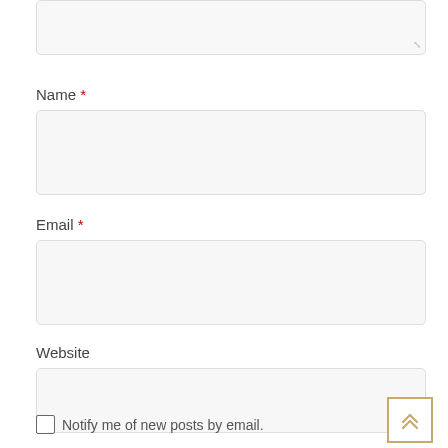[Figure (screenshot): Top portion of a textarea input field with resize handle in bottom-right corner, light gray background with rounded corners]
Name *
[Figure (screenshot): Empty text input field for Name, light gray background with rounded corners and border]
Email *
[Figure (screenshot): Empty text input field for Email, light gray background with rounded corners and border]
Website
[Figure (screenshot): Empty text input field for Website, light gray background with rounded corners and border]
Notify me of new posts by email.
[Figure (other): Back to top button with double chevron up arrows, gold/tan border, white background, bottom-right corner]